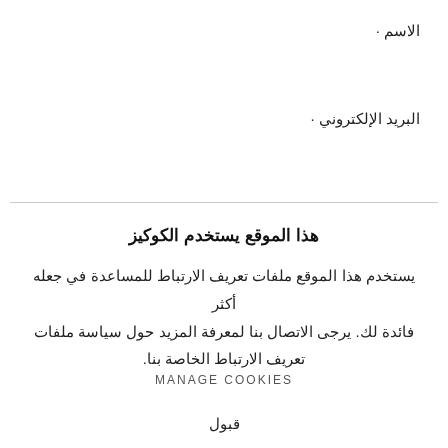الاسم :
البريد الإلكتروني :
هذا الموقع يستخدم الكوكيز
يستخدم هذا الموقع ملفات تعريف الارتباط للمساعدة في جعله أكثر فائدة لك. يرجى الاتصال بنا لمعرفة المزيد حول سياسة ملفات تعريف الارتباط الخاصة بنا.
MANAGE COOKIES
قبول